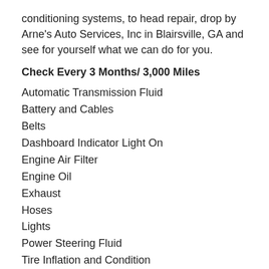conditioning systems, to head repair, drop by Arne's Auto Services, Inc in Blairsville, GA and see for yourself what we can do for you.
Check Every 3 Months/ 3,000 Miles
Automatic Transmission Fluid
Battery and Cables
Belts
Dashboard Indicator Light On
Engine Air Filter
Engine Oil
Exhaust
Hoses
Lights
Power Steering Fluid
Tire Inflation and Condition
Windshield Washer Fluid
Check Every 6 Months/6,000 Miles